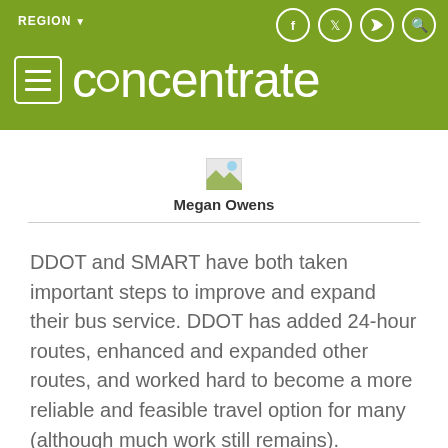concentrate
[Figure (photo): Broken image placeholder for Megan Owens author photo]
Megan Owens
DDOT and SMART have both taken important steps to improve and expand their bus service. DDOT has added 24-hour routes, enhanced and expanded other routes, and worked hard to become a more reliable and feasible travel option for many (although much work still remains).